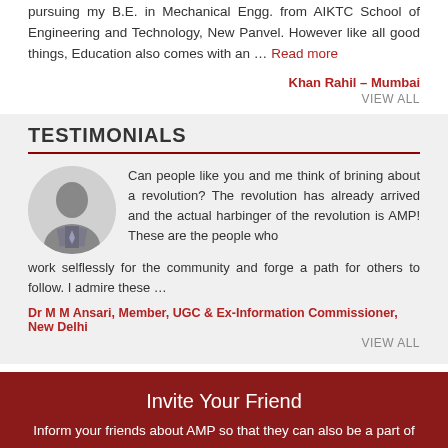pursuing my B.E. in Mechanical Engg. from AIKTC School of Engineering and Technology, New Panvel. However like all good things, Education also comes with an … Read more
Khan Rahil – Mumbai
VIEW ALL
TESTIMONIALS
Can people like you and me think of brining about a revolution? The revolution has already arrived and the actual harbinger of the revolution is AMP! These are the people who work selflessly for the community and forge a path for others to follow. I admire these …
Dr M M Ansari, Member, UGC & Ex-Information Commissioner, New Delhi
VIEW ALL
Invite Your Friend
Inform your friends about AMP so that they can also be a part of